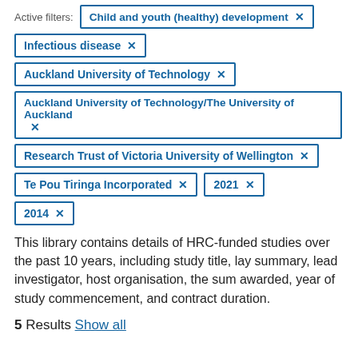Active filters: Child and youth (healthy) development ×
Infectious disease ×
Auckland University of Technology ×
Auckland University of Technology/The University of Auckland ×
Research Trust of Victoria University of Wellington ×
Te Pou Tiringa Incorporated ×
2021 ×
2014 ×
This library contains details of HRC-funded studies over the past 10 years, including study title, lay summary, lead investigator, host organisation, the sum awarded, year of study commencement, and contract duration.
5 Results Show all